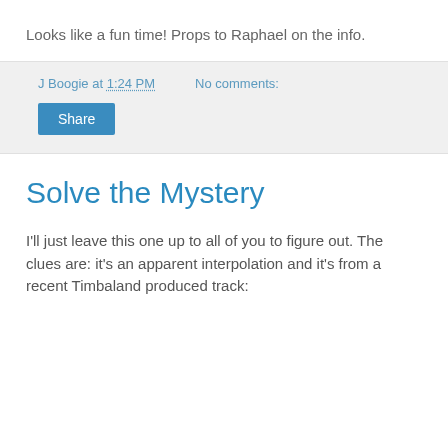Looks like a fun time! Props to Raphael on the info.
J Boogie at 1:24 PM    No comments:
Share
Solve the Mystery
I'll just leave this one up to all of you to figure out. The clues are: it's an apparent interpolation and it's from a recent Timbaland produced track: